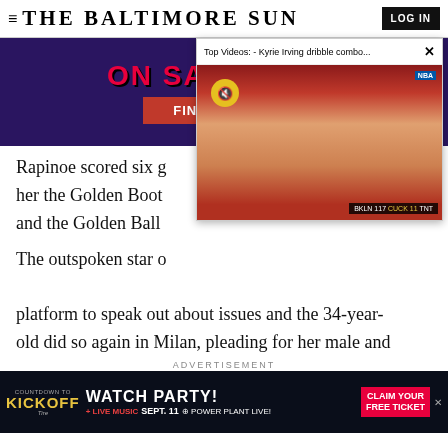≡ THE BALTIMORE SUN  LOG IN
[Figure (photo): Advertisement banner with dark purple background showing 'ON SALE NOW!' in red text and 'FIND TICKETS' red button, with basketball shoes visible]
[Figure (screenshot): Video overlay popup titled 'Top Videos: - Kyrie Irving dribble combo...' showing a basketball game on a red court with a mute button and score bar]
Rapinoe scored six g... her the Golden Boot ... and the Golden Ball ...
The outspoken star o... platform to speak out about issues and the 34-year-old did so again in Milan, pleading for her male and
ADVERTISEMENT
[Figure (photo): Advertisement for Baltimore Ravens Watch Party - 'WATCH PARTY! SEPT. 11 @ POWER PLANT LIVE! + LIVE MUSIC | CLAIM YOUR FREE TICKET' with countdown to kickoff logo]